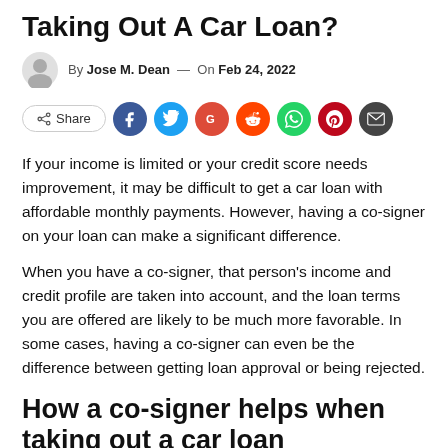Taking Out A Car Loan?
By Jose M. Dean — On Feb 24, 2022
[Figure (infographic): Social share bar with Share button and icons for Facebook, Twitter, Google, Reddit, WhatsApp, Pinterest, and Email]
If your income is limited or your credit score needs improvement, it may be difficult to get a car loan with affordable monthly payments. However, having a co-signer on your loan can make a significant difference.
When you have a co-signer, that person's income and credit profile are taken into account, and the loan terms you are offered are likely to be much more favorable. In some cases, having a co-signer can even be the difference between getting loan approval or being rejected.
How a co-signer helps when taking out a car loan